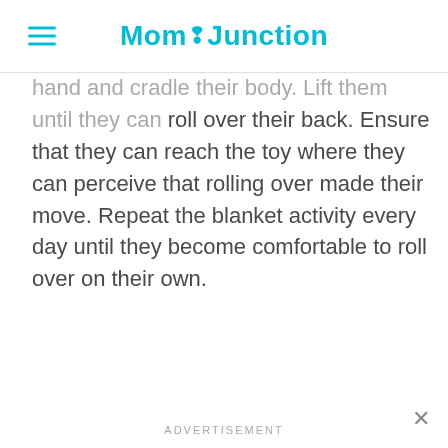MomJunction
hand and cradle their body. Lift them until they can roll over their back. Ensure that they can reach the toy where they can perceive that rolling over made their move. Repeat the blanket activity every day until they become comfortable to roll over on their own.
ADVERTISEMENT